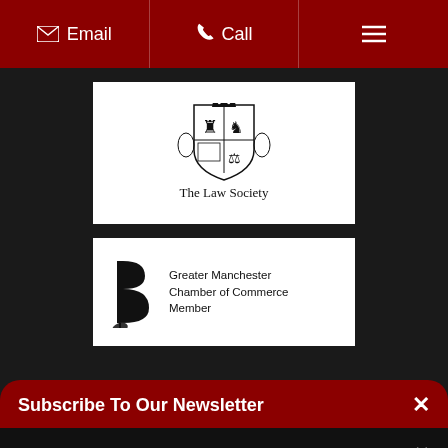Email | Call | Menu
[Figure (logo): The Law Society crest logo with text 'The Law Society']
[Figure (logo): Greater Manchester Chamber of Commerce Member logo]
Subscribe To Our Newsletter
This website uses cookies to make sure you get the best experience on our website.
Accept
View Cookie Policy